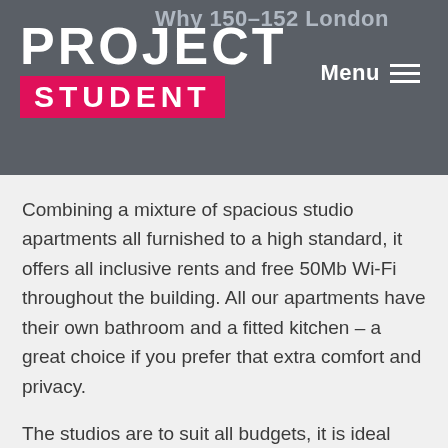Why 150-152 London
[Figure (logo): Project Student logo: PROJECT in large white text on dark grey background, STUDENT in white bold text on pink/magenta rectangular band]
Menu ≡
Combining a mixture of spacious studio apartments all furnished to a high standard, it offers all inclusive rents and free 50Mb Wi-Fi throughout the building. All our apartments have their own bathroom and a fitted kitchen – a great choice if you prefer that extra comfort and privacy.
The studios are to suit all budgets, it is ideal accommodation for those who are looking for large rooms, great features in a delightful Victorian setting, yet is just a